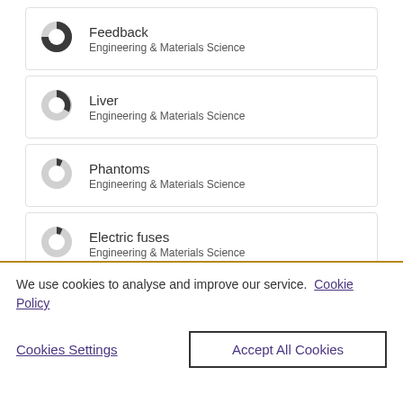Feedback - Engineering & Materials Science
Liver - Engineering & Materials Science
Phantoms - Engineering & Materials Science
Electric fuses - Engineering & Materials Science
We use cookies to analyse and improve our service. Cookie Policy
Cookies Settings | Accept All Cookies